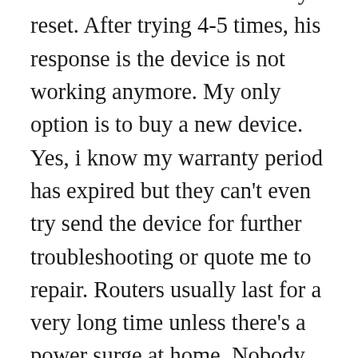technician tried to do a factory reset. After trying 4-5 times, his response is the device is not working anymore. My only option is to buy a new device. Yes, i know my warranty period has expired but they can't even try send the device for further troubleshooting or quote me to repair. Routers usually last for a very long time unless there's a power surge at home. Nobody messes with a router at home like a washing machine or oven. You just configured it and leave it there to work. I asked the technician for a confirmation report that the device is no longer usable and he said there's no such thing. He offered to print out the device information, e.g. MAC address, serial